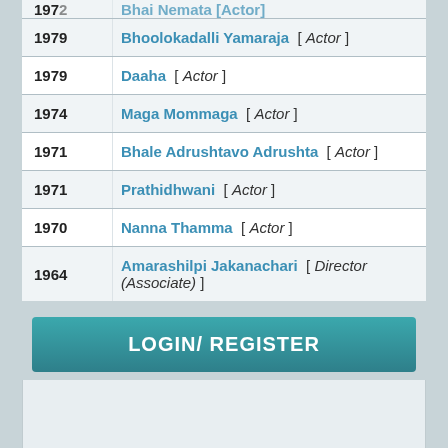| Year | Film / Role |
| --- | --- |
| 1979 | Bhoolokadalli Yamaraja [ Actor ] |
| 1979 | Daaha [ Actor ] |
| 1974 | Maga Mommaga [ Actor ] |
| 1971 | Bhale Adrushtavo Adrushta [ Actor ] |
| 1971 | Prathidhwani [ Actor ] |
| 1970 | Nanna Thamma [ Actor ] |
| 1964 | Amarashilpi Jakanachari [ Director (Associate) ] |
LOGIN/ REGISTER